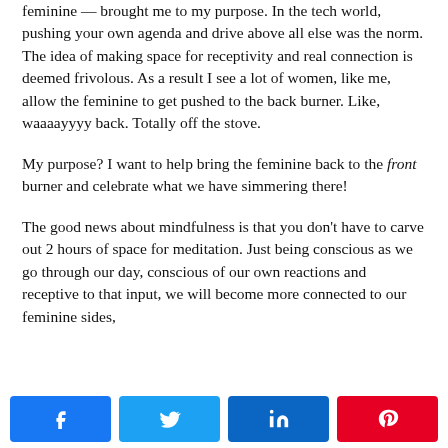feminine — brought me to my purpose. In the tech world, pushing your own agenda and drive above all else was the norm. The idea of making space for receptivity and real connection is deemed frivolous. As a result I see a lot of women, like me, allow the feminine to get pushed to the back burner. Like, waaaayyyy back. Totally off the stove.
My purpose? I want to help bring the feminine back to the front burner and celebrate what we have simmering there!
The good news about mindfulness is that you don't have to carve out 2 hours of space for meditation. Just being conscious as we go through our day, conscious of our own reactions and receptive to that input, we will become more connected to our feminine sides,
[Figure (other): Social sharing buttons: Facebook (blue), Twitter (light blue), LinkedIn (dark blue), Pinterest (red)]